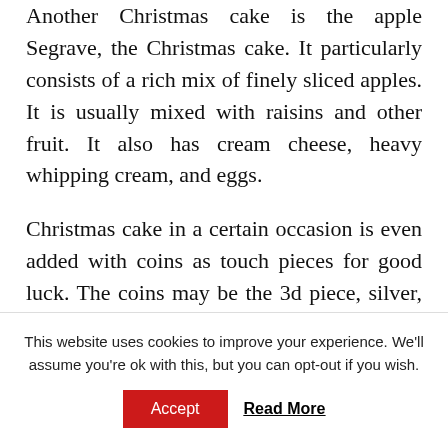Another Christmas cake is the apple Segrave, the Christmas cake. It particularly consists of a rich mix of finely sliced apples. It is usually mixed with raisins and other fruit. It also has cream cheese, heavy whipping cream, and eggs.
Christmas cake in a certain occasion is even added with coins as touch pieces for good luck. The coins may be the 3d piece, silver, or sixpences wrapped in greaseproof paper packages.
The Wacky Cake
This website uses cookies to improve your experience. We'll assume you're ok with this, but you can opt-out if you wish.